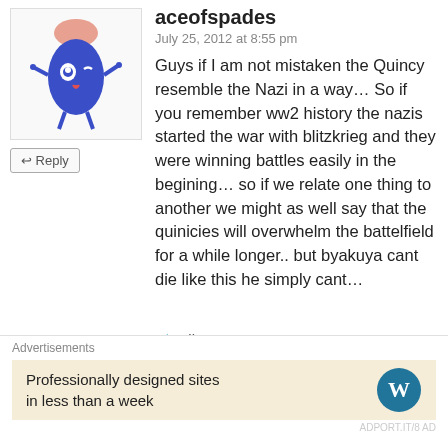[Figure (illustration): Cartoon avatar: blue oval character with a brain on top, small arms and legs, tongue out]
↩ Reply
aceofspades
July 25, 2012 at 8:55 pm
Guys if I am not mistaken the Quincy resemble the Nazi in a way… So if you remember ww2 history the nazis started the war with blitzkrieg and they were winning battles easily in the begining… so if we relate one thing to another we might as well say that the quinicies will overwhelm the battelfield for a while longer.. but byakuya cant die like this he simply cant…
★ Like
[Figure (illustration): Cartoon avatar: red creature with antlers/horns on a beige background]
nick dunn
Advertisements
Professionally designed sites in less than a week
[Figure (logo): WordPress logo - W in a circle]